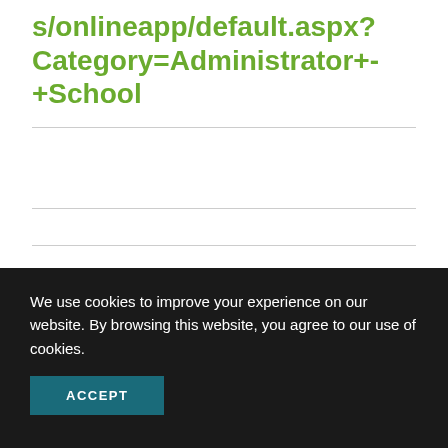s/onlineapp/default.aspx?Category=Administrator+-+School
We use cookies to improve your experience on our website. By browsing this website, you agree to our use of cookies.
ACCEPT